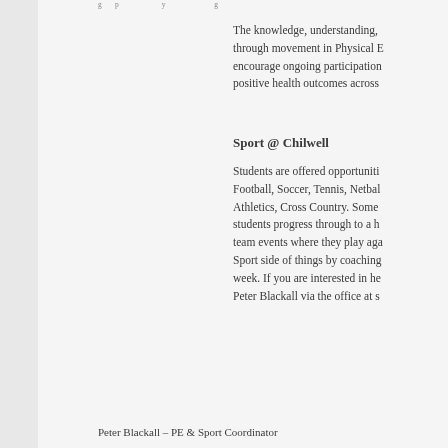...g...p...y...g...
The knowledge, understanding, through movement in Physical E encourage ongoing participation positive health outcomes across
Sport @ Chilwell
Students are offered opportuniti Football, Soccer, Tennis, Netbal Athletics, Cross Country. Some students progress through to a h team events where they play aga Sport side of things by coaching week. If you are interested in he Peter Blackall via the office at s
Peter Blackall – PE & Sport Coordinator